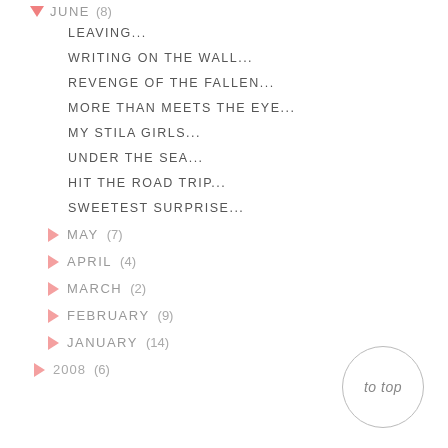▼ JUNE (8)
LEAVING...
WRITING ON THE WALL...
REVENGE OF THE FALLEN...
MORE THAN MEETS THE EYE...
MY STILA GIRLS...
UNDER THE SEA...
HIT THE ROAD TRIP...
SWEETEST SURPRISE...
► MAY (7)
► APRIL (4)
► MARCH (2)
► FEBRUARY (9)
► JANUARY (14)
► 2008 (6)
to top